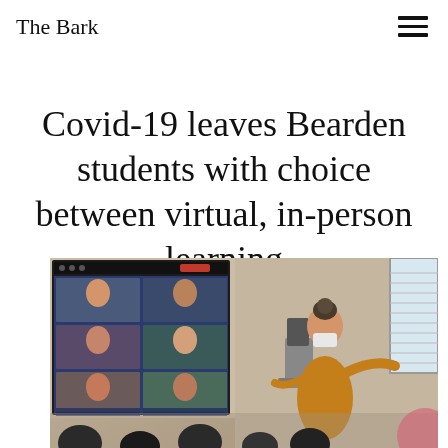The Bark
Covid-19 leaves Bearden students with choice between virtual, in-person learning
[Figure (photo): A teacher wearing a mask and a yellow/orange cardigan stands in a classroom pointing toward a large display screen showing a video conference with multiple student participants visible in grid tiles. Students are seen from behind in the foreground. A window with blinds is visible on the right side.]